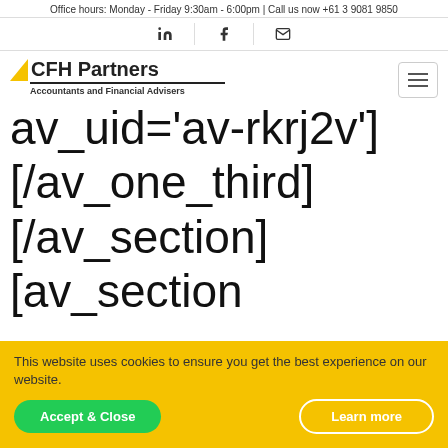Office hours: Monday - Friday 9:30am - 6:00pm | Call us now +61 3 9081 9850
[Figure (logo): CFH Partners logo with yellow triangle, bold text 'CFH Partners', underline, and subtitle 'Accountants and Financial Advisers']
av_uid='av-rkrj2v']
[/av_one_third]
[/av_section]
[av_section
This website uses cookies to ensure you get the best experience on our website.